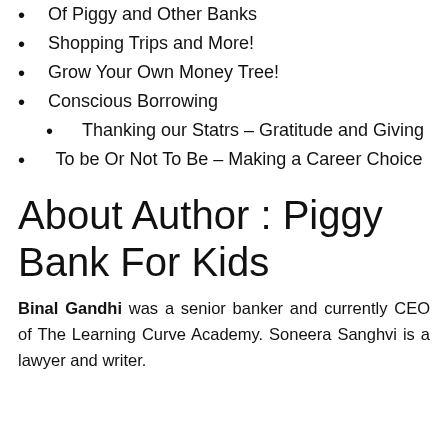Of Piggy and Other Banks
Shopping Trips and More!
Grow Your Own Money Tree!
Conscious Borrowing
Thanking our Statrs – Gratitude and Giving
To be Or Not To Be – Making a Career Choice
About Author : Piggy Bank For Kids
Binal Gandhi was a senior banker and currently CEO of The Learning Curve Academy. Soneera Sanghvi is a lawyer and writer.